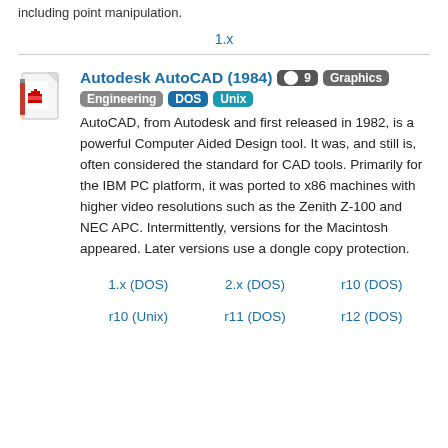including point manipulation.
1.x
Autodesk AutoCAD (1984)
AutoCAD, from Autodesk and first released in 1982, is a powerful Computer Aided Design tool. It was, and still is, often considered the standard for CAD tools. Primarily for the IBM PC platform, it was ported to x86 machines with higher video resolutions such as the Zenith Z-100 and NEC APC. Intermittently, versions for the Macintosh appeared. Later versions use a dongle copy protection.
1.x (DOS)
2.x (DOS)
r10 (DOS)
r10 (Unix)
r11 (DOS)
r12 (DOS)